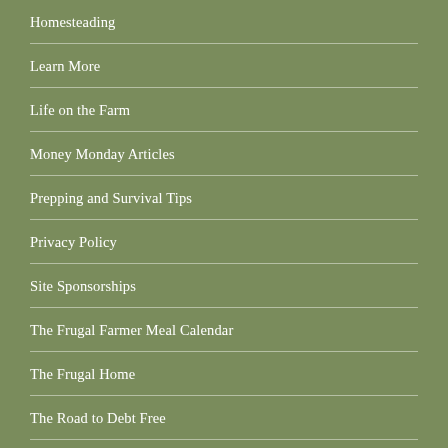Homesteading
Learn More
Life on the Farm
Money Monday Articles
Prepping and Survival Tips
Privacy Policy
Site Sponsorships
The Frugal Farmer Meal Calendar
The Frugal Home
The Road to Debt Free